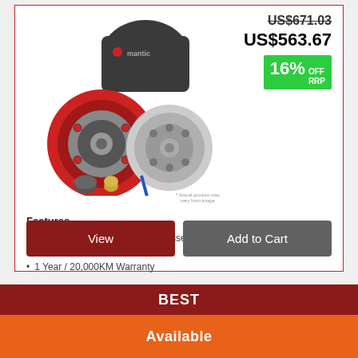[Figure (photo): Mantic clutch kit product photo showing red cover assembly, cerametallic clutch plate, and other components on white background]
US$671.03
US$563.67
16% OFF RRP
Features
Mantic Heavy Duty SGI Cover Assembly
Full Cerametallic Clutch Plate
1 Year / 20,000KM Warranty
View
Add to Cart
BEST
Available